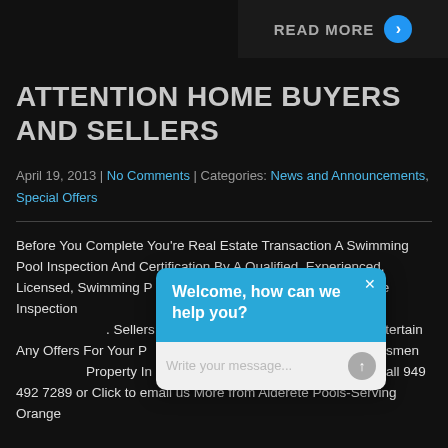READ MORE →
ATTENTION HOME BUYERS AND SELLERS
April 19, 2013 | No Comments | Categories: News and Announcements, Special Offers
Before You Complete You're Real Estate Transaction A Swimming Pool Inspection And Certification By A Qualified, Experienced, Licensed, Swimming Pool Inspector Is Just As Important As A Home Inspection. It Can Help Identify Unforeseen Costs Which Could Be Extremely Expensive. Buyers: Protect Yourself From Unexpected Expenses By Having Any Offers For Your Potential Pool Property Evaluated With A Unbiased Assessment Of The Condition Of The Property In Question. Click For More Information or call 949 492 7289 or Click to email us More from Alderete Pools-Serving Orange
[Figure (screenshot): Chat widget overlay with 'Welcome, how can we help you?' header in blue and a message input area below]